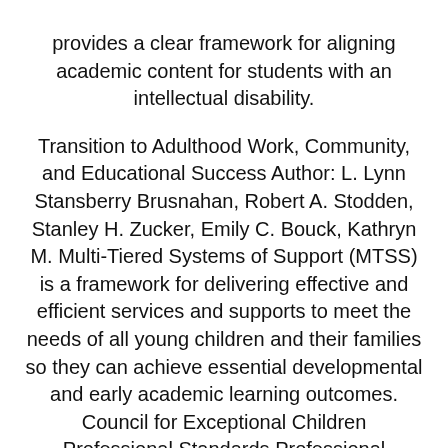provides a clear framework for aligning academic content for students with an intellectual disability. Transition to Adulthood Work, Community, and Educational Success Author: L. Lynn Stansberry Brusnahan, Robert A. Stodden, Stanley H. Zucker, Emily C. Bouck, Kathryn M. Multi-Tiered Systems of Support (MTSS) is a framework for delivering effective and efficient services and supports to meet the needs of all young children and their families so they can achieve essential developmental and early academic learning outcomes. Council for Exceptional Children Professional Standards Professional Standards and Practice relevant laws and policies, diverse and historical points of view, and human can interact with issues in the delivery of special. education services. They understand the. Publisher: Council for Exceptional Children (February 1, )